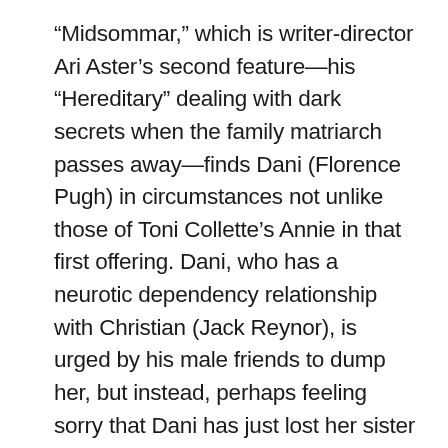“Midsommar,” which is writer-director Ari Aster’s second feature—his “Hereditary” dealing with dark secrets when the family matriarch passes away—finds Dani (Florence Pugh) in circumstances not unlike those of Toni Collette’s Annie in that first offering. Dani, who has a neurotic dependency relationship with Christian (Jack Reynor), is urged by his male friends to dump her, but instead, perhaps feeling sorry that Dani has just lost her sister and parents in a catastrophe, Christian makes the mistake that they all make in taking the trip. What they find among a large ensemble standing in for Pelle’s cousins and other relatives is an inbred community whose warm welcome of the